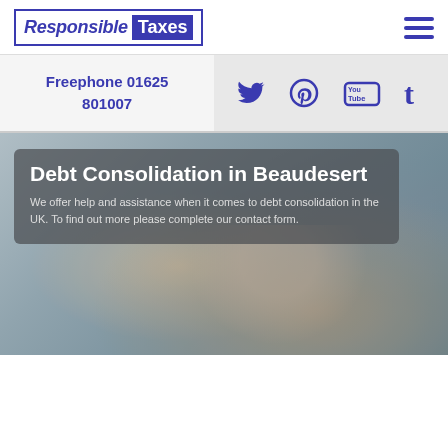Responsible Taxes
Freephone 01625 801007
[Figure (screenshot): Social media icons: Twitter, Pinterest, YouTube, Tumblr in blue]
[Figure (photo): Photo of two people meeting with a financial advisor across a desk, with a dark semi-transparent overlay containing headline text]
Debt Consolidation in Beaudesert
We offer help and assistance when it comes to debt consolidation in the UK. To find out more please complete our contact form.